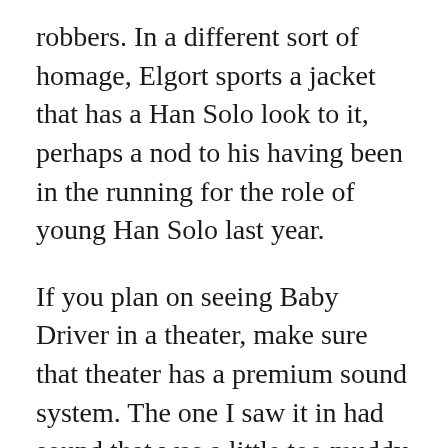robbers. In a different sort of homage, Elgort sports a jacket that has a Han Solo look to it, perhaps a nod to his having been in the running for the role of young Han Solo last year.
If you plan on seeing Baby Driver in a theater, make sure that theater has a premium sound system. The one I saw it in had sound that was a little too muddy and soft, and it did little to drown out the ringing in my ears that I suffer from after listening to Who/Pete